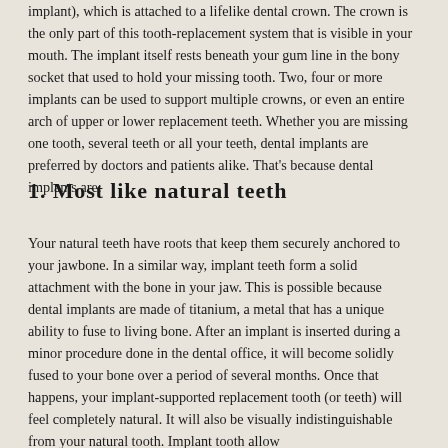implant), which is attached to a lifelike dental crown. The crown is the only part of this tooth-replacement system that is visible in your mouth. The implant itself rests beneath your gum line in the bony socket that used to hold your missing tooth. Two, four or more implants can be used to support multiple crowns, or even an entire arch of upper or lower replacement teeth. Whether you are missing one tooth, several teeth or all your teeth, dental implants are preferred by doctors and patients alike. That's because dental implants are:
1. Most like natural teeth
Your natural teeth have roots that keep them securely anchored to your jawbone. In a similar way, implant teeth form a solid attachment with the bone in your jaw. This is possible because dental implants are made of titanium, a metal that has a unique ability to fuse to living bone. After an implant is inserted during a minor procedure done in the dental office, it will become solidly fused to your bone over a period of several months. Once that happens, your implant-supported replacement tooth (or teeth) will feel completely natural. It will also be visually indistinguishable from your natural tooth. Implant tooth allow